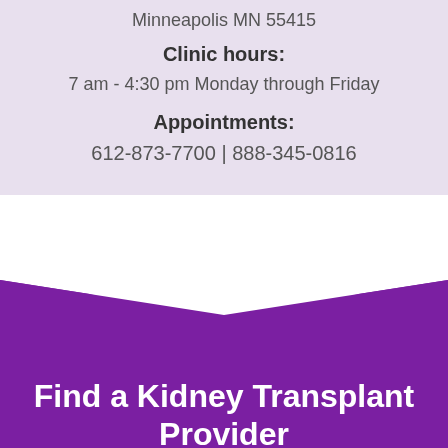Minneapolis MN 55415
Clinic hours:
7 am - 4:30 pm Monday through Friday
Appointments:
612-873-7700 | 888-345-0816
[Figure (illustration): Purple downward-pointing chevron/arrow shape divider between white background and purple bottom section]
Find a Kidney Transplant Provider